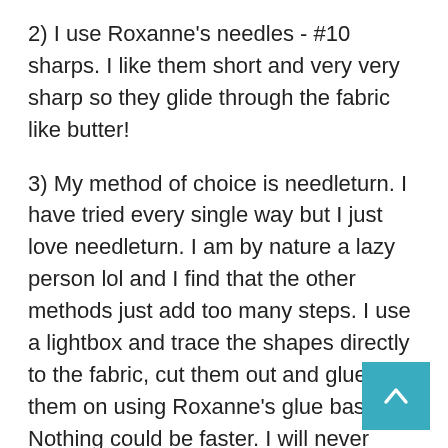2) I use Roxanne's needles - #10 sharps. I like them short and very very sharp so they glide through the fabric like butter!
3) My method of choice is needleturn. I have tried every single way but I just love needleturn. I am by nature a lazy person lol and I find that the other methods just add too many steps. I use a lightbox and trace the shapes directly to the fabric, cut them out and glue them on using Roxanne's glue baste-it. Nothing could be faster. I will never mess around with freezer paper again! I can't tell you how much I love needleturn. So easy to prepare the blocks and have them sitting there and just pick them up when I have a spare minute or two between